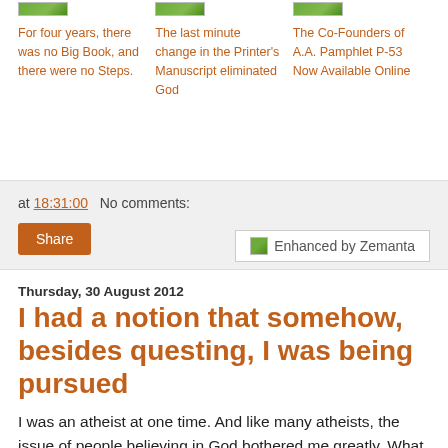For four years, there was no Big Book, and there were no Steps.
The last minute change in the Printer's Manuscript eliminated God
The Co-Founders of A.A. Pamphlet P-53 Now Available Online
[Figure (other): Enhanced by Zemanta badge/button]
at 18:31:00   No comments:
Share
Thursday, 30 August 2012
I had a notion that somehow, besides questing, I was being pursued
I was an atheist at one time. And like many atheists, the issue of people believing in God bothered me greatly. What is it about atheists that we would spend so much time, attention, and energy refuting something that we don't believe even exists?! What causes us to do that? When I